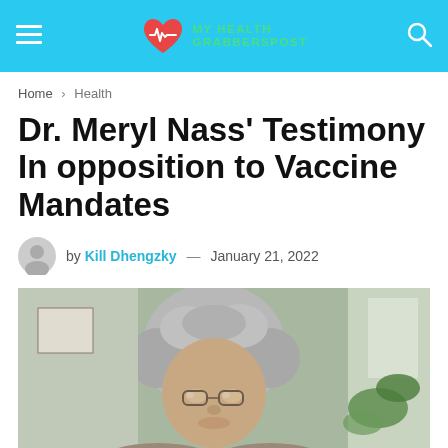MY HEALTH GRABBERSPOST
Home > Health
Dr. Meryl Nass' Testimony In opposition to Vaccine Mandates
by Kill Dhengzky — January 21, 2022
[Figure (photo): Portrait photo of Dr. Meryl Nass, a woman with curly gray hair and glasses, seated indoors with a plant and window visible in the background.]